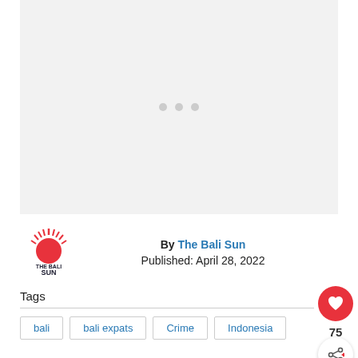[Figure (photo): Image placeholder with three grey dots indicating loading or missing image]
By The Bali Sun
Published: April 28, 2022
Tags
bali
bali expats
Crime
Indonesia